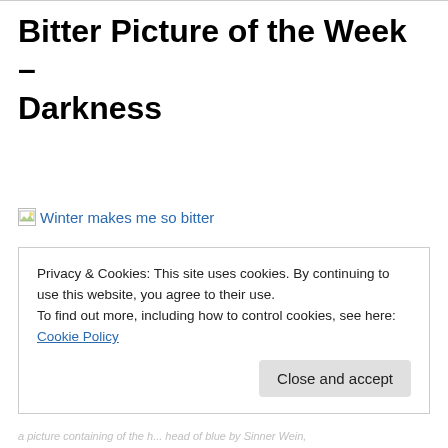Bitter Picture of the Week – Darkness
[Figure (illustration): Broken image placeholder with alt text 'Winter makes me so bitter' shown as a blue hyperlink with broken image icon]
Privacy & Cookies: This site uses cookies. By continuing to use this website, you agree to their use.
To find out more, including how to control cookies, see here: Cookie Policy
Close and accept